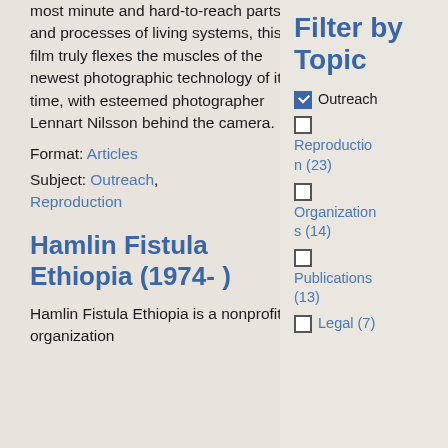most minute and hard-to-reach parts and processes of living systems, this film truly flexes the muscles of the newest photographic technology of its time, with esteemed photographer Lennart Nilsson behind the camera.
Format: Articles
Subject: Outreach, Reproduction
Hamlin Fistula Ethiopia (1974- )
Hamlin Fistula Ethiopia is a nonprofit organization
Filter by Topic
Outreach (checked)
Reproduction (23)
Organizations (14)
Publications (13)
Legal (7)